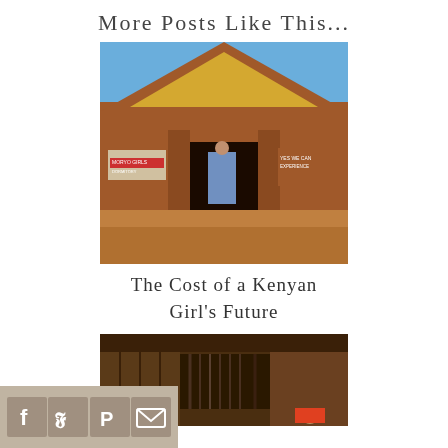More Posts Like This...
[Figure (photo): A brick building with a yellow painted gable end, a person standing in the doorway, and signs reading 'MORYO GIRLS DORMITORY' and 'YES WE CAN EXPERIENCE']
The Cost of a Kenyan Girl's Future
[Figure (photo): Interior of a wooden structure with dark wood beams and a person visible in the lower right]
[Figure (infographic): Social sharing bar with Facebook, Twitter, Pinterest, and email icons on a tan/beige background]